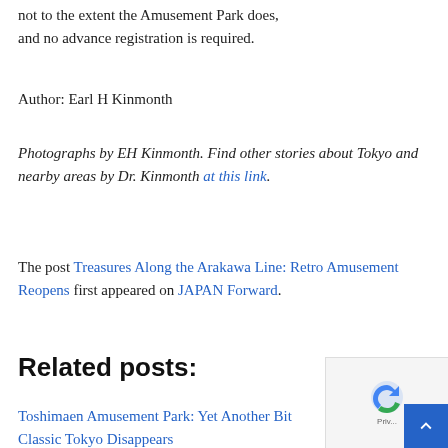not to the extent the Amusement Park does, and no advance registration is required.
Author: Earl H Kinmonth
Photographs by EH Kinmonth. Find other stories about Tokyo and nearby areas by Dr. Kinmonth at this link.
The post Treasures Along the Arakawa Line: Retro Amusement Reopens first appeared on JAPAN Forward.
Related posts:
Toshimaen Amusement Park: Yet Another Bit Classic Tokyo Disappears